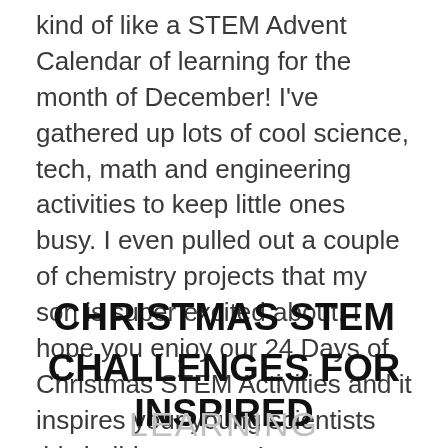kind of like a STEM Advent Calendar of learning for the month of December! I've gathered up lots of cool science, tech, math and engineering activities to keep little ones busy. I even pulled out a couple of chemistry projects that my son is super excited about. I hope you enjoy our 24 Days of Christmas STEM Activities and it inspires your young scientists this holiday season!
CHRISTMAS STEM CHALLENGES FOR INSPIRED LEARNING